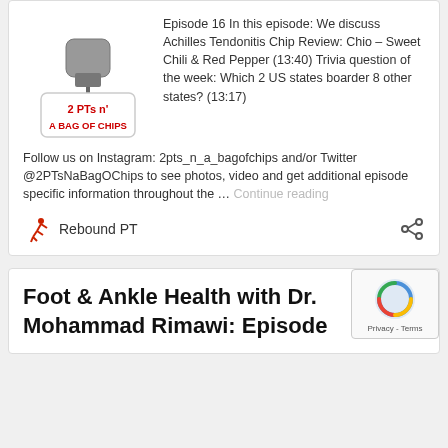[Figure (logo): 2 PTs n' A Bag of Chips podcast logo with microphone graphic]
Episode 16 In this episode: We discuss Achilles Tendonitis Chip Review: Chio – Sweet Chili & Red Pepper (13:40) Trivia question of the week: Which 2 US states boarder 8 other states? (13:17) Follow us on Instagram: 2pts_n_a_bagofchips and/or Twitter @2PTsNaBagOChips to see photos, video and get additional episode specific information throughout the … Continue reading
Rebound PT
Foot & Ankle Health with Dr. Mohammad Rimawi: Episode